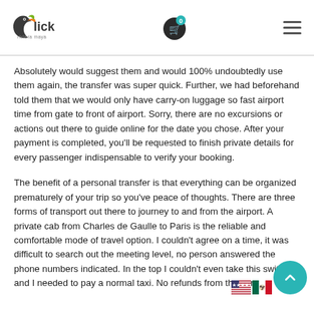Click Riviera Maya — header with logo, cart (0), and hamburger menu
Absolutely would suggest them and would 100% undoubtedly use them again, the transfer was super quick. Further, we had beforehand told them that we would only have carry-on luggage so fast airport time from gate to front of airport. Sorry, there are no excursions or actions out there to guide online for the date you chose. After your payment is completed, you'll be requested to finish private details for every passenger indispensable to verify your booking.
The benefit of a personal transfer is that everything can be organized prematurely of your trip so you've peace of thoughts. There are three forms of transport out there to journey to and from the airport. A private cab from Charles de Gaulle to Paris is the reliable and comfortable mode of travel option. I couldn't agree on a time, it was difficult to search out the meeting level, no person answered the phone numbers indicated. In the top I couldn't even take this switch and I needed to pay a normal taxi. No refunds from the corp— but the continuation of GoVan Guide...